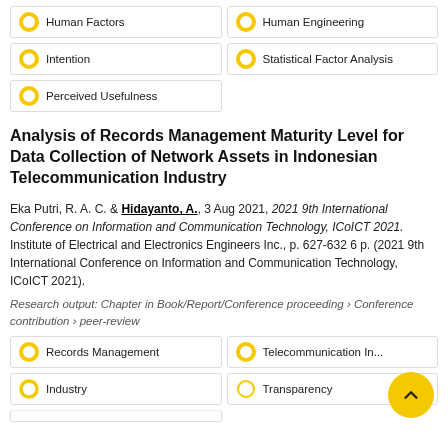Human Factors
Human Engineering
Intention
Statistical Factor Analysis
Perceived Usefulness
Analysis of Records Management Maturity Level for Data Collection of Network Assets in Indonesian Telecommunication Industry
Eka Putri, R. A. C. & Hidayanto, A., 3 Aug 2021, 2021 9th International Conference on Information and Communication Technology, ICoICT 2021. Institute of Electrical and Electronics Engineers Inc., p. 627-632 6 p. (2021 9th International Conference on Information and Communication Technology, ICoICT 2021).
Research output: Chapter in Book/Report/Conference proceeding › Conference contribution › peer-review
Records Management
Telecommunication In...
Industry
Transparency